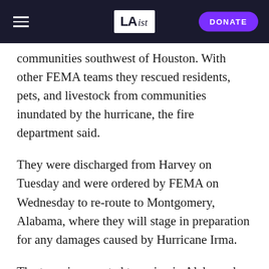LAist — DONATE
communities southwest of Houston. With other FEMA teams they rescued residents, pets, and livestock from communities inundated by the hurricane, the fire department said.
They were discharged from Harvey on Tuesday and were ordered by FEMA on Wednesday to re-route to Montgomery, Alabama, where they will stage in preparation for any damages caused by Hurricane Irma.
The team is expected to arrive in Alabama by midnight on September 7. “The team is rested, in